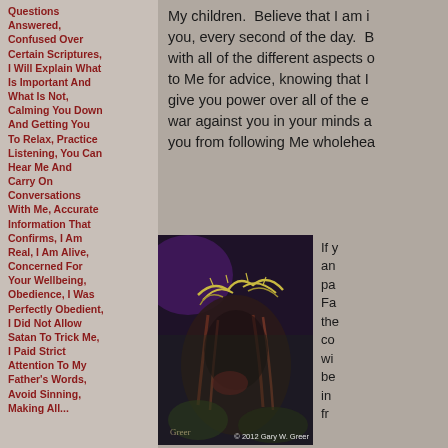Questions Answered, Confused Over Certain Scriptures, I Will Explain What Is Important And What Is Not, Calming You Down And Getting You To Relax, Practice Listening, You Can Hear Me And Carry On Conversations With Me, Accurate Information That Confirms, I Am Real, I Am Alive, Concerned For Your Wellbeing, Obedience, I Was Perfectly Obedient, I Did Not Allow Satan To Trick Me, I Paid Strict Attention To My Father's Words, Avoid Sinning, Making All...
My children. Believe that I am in you, every second of the day. B... with all of the different aspects o... to Me for advice, knowing that I... give you power over all of the e... war against you in your minds a... you from following Me wholehea...
[Figure (photo): Dark artistic painting/illustration of a figure wearing a crown of thorns, depicting Jesus Christ. Watermark reads '© 2012 Gary W. Greer']
If y... an... pa... Fa... the... co... wi... be... in... fr...